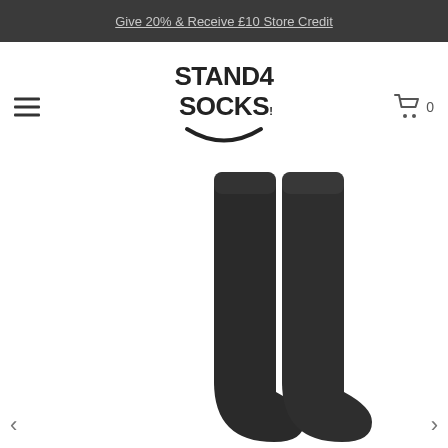Give 20% & Receive £10 Store Credit
[Figure (logo): Stand 4 Socks logo — bold black text on white background]
[Figure (photo): Dark charcoal/black crew socks shown standing upright against white background]